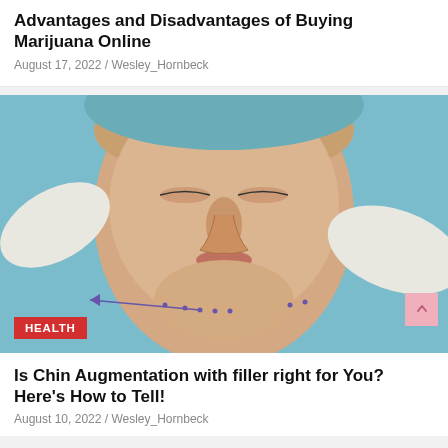Advantages and Disadvantages of Buying Marijuana Online
August 17, 2022 / Wesley_Hornbeck
[Figure (photo): Close-up of a woman's face lying down in a medical/surgical setting with surgical markings drawn on her chin and jaw area, gloved hands visible holding a device near her face. A red HEALTH badge overlays the bottom-left of the image.]
Is Chin Augmentation with filler right for You? Here's How to Tell!
August 10, 2022 / Wesley_Hornbeck